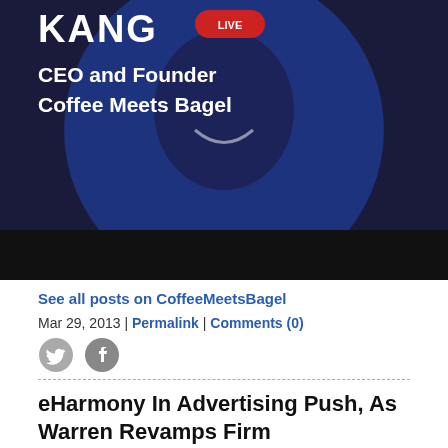[Figure (photo): Person photo with text overlay: CEO and Founder Coffee Meets Bagel, with KANG text and logo visible on dark blue-tinted image]
See all posts on CoffeeMeetsBagel
Mar 29, 2013 | Permalink | Comments (0)
[Figure (illustration): Twitter and Facebook social media icons]
eHarmony In Advertising Push, As Warren Revamps Firm
eHarmony SOCALTECH - Mar 28 - eHarmony is planning a big advertising push, as the firm said it has revamped its management team under founder Dr. Neil Clark Warren. The television campaign will feature Dr. Warren in "new, humorous situations." The move comes as eHarmony says it has been working to refresh and revamp its